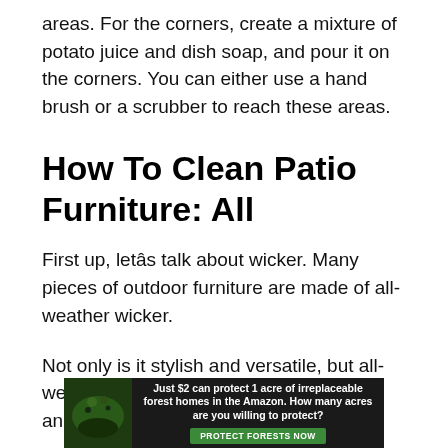areas. For the corners, create a mixture of potato juice and dish soap, and pour it on the corners. You can either use a hand brush or a scrubber to reach these areas.
How To Clean Patio Furniture: All
First up, letâs talk about wicker. Many pieces of outdoor furniture are made of all-weather wicker.
Not only is it stylish and versatile, but all-weather wicker is also extremely durable and easy to clean, which we love!
All  Outer sofas and sectionals  are made from all-weather wicker, but with a twist. Our all-weather wicker is made up of 30% recycled materials and is fully recyclable, so you can
[Figure (infographic): Advertisement banner with dark background showing forest/animal image on left and text: 'Just $2 can protect 1 acre of irreplaceable forest homes in the Amazon. How many acres are you willing to protect?' with a green 'PROTECT FORESTS NOW' button.]